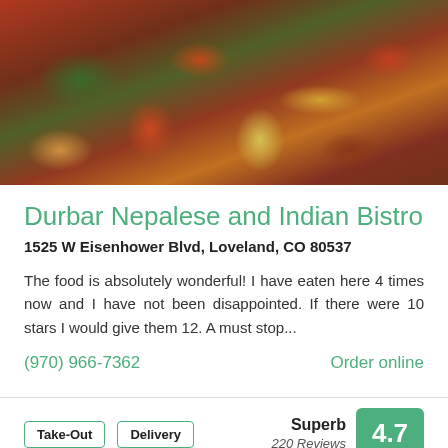[Figure (photo): Close-up photo of colorful cooked vegetables including peppers, onions, and green vegetables in a dark skillet or pan, typical South Asian/Indian dish presentation]
Durbar Nepalese and Indian Bistro
1525 W Eisenhower Blvd, Loveland, CO 80537
The food is absolutely wonderful! I have eaten here 4 times now and I have not been disappointed. If there were 10 stars I would give them 12. A must stop...
(970) 966-7362
Order online
Take-Out
Delivery
Superb 220 Reviews 4.7
JAPANESE